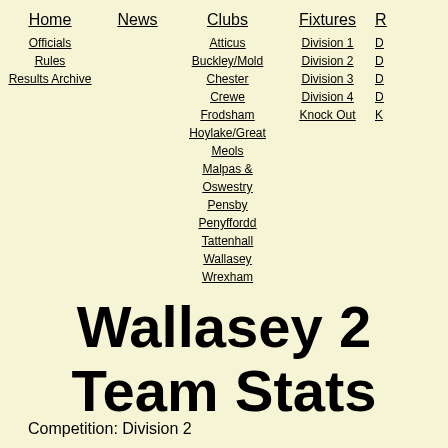Home | Officials | Rules | Results Archive | News | Clubs | Atticus | Buckley/Mold | Chester | Crewe | Frodsham | Hoylake/Great Meols | Malpas & Oswestry | Pensby | Penyffordd | Tattenhall | Wallasey | Wrexham | Fixtures | Division 1 | Division 2 | Division 3 | Division 4 | Knock Out | [more]
Wallasey 2 Team Stats
Competition: Division 2